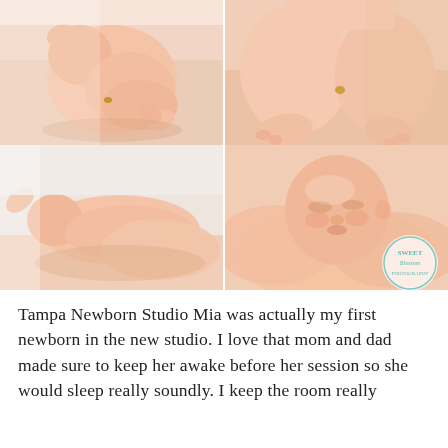[Figure (photo): A 2x2 collage of four newborn baby photos. Top-left: sleeping newborn curled up on peach blanket. Top-right: close-up of newborn's chubby legs and feet on peach fabric. Bottom-left: sleeping newborn lying on side with arm outstretched. Bottom-right: close-up of sleeping newborn's face wrapped in peach swaddle, with a 'Sweet Blossom Photography' watermark logo in the lower right corner.]
Tampa Newborn Studio Mia was actually my first newborn in the new studio. I love that mom and dad made sure to keep her awake before her session so she would sleep really soundly. I keep the room really